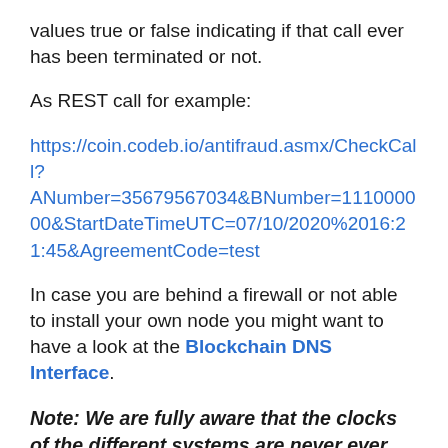values true or false indicating if that call ever has been terminated or not.
As REST call for example:
https://coin.codeb.io/antifraud.asmx/CheckCall?ANumber=35679567034&BNumber=111000000&StartDateTimeUTC=07/10/2020%2016:21:45&AgreementCode=test
In case you are behind a firewall or not able to install your own node you might want to have a look at the Blockchain DNS Interface.
Note: We are fully aware that the clocks of the different systems are never ever